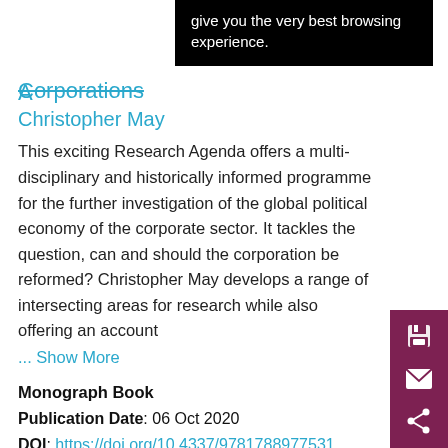give you the very best browsing experience.
Corporations
Christopher May
This exciting Research Agenda offers a multi-disciplinary and historically informed programme for the further investigation of the global political economy of the corporate sector. It tackles the question, can and should the corporation be reformed? Christopher May develops a range of intersecting areas for research while also offering an account
... Show More
Monograph Book
Publication Date:  06 Oct 2020
DOI:  https://doi.org/10.4337/9781788977531